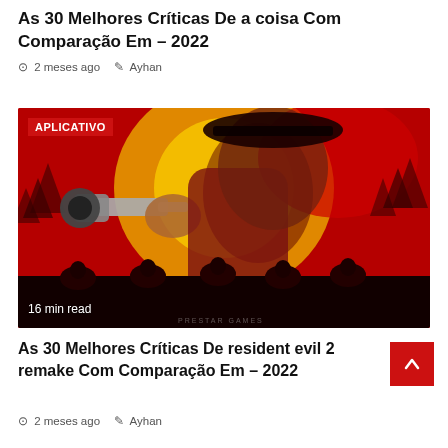As 30 Melhores Críticas De a coisa Com Comparação Em – 2022
⊙ 2 meses ago  ✎ Ayhan
[Figure (photo): Red Dead Redemption 2 promotional artwork showing a cowboy aiming a revolver with red and yellow background, silhouettes of riders on horseback at bottom. Badge: APLICATIVO. Text: 16 min read. Watermark: PRESTAR GAMES]
As 30 Melhores Críticas De resident evil 2 remake Com Comparação Em – 2022
⊙ 2 meses ago  ✎ Ayhan